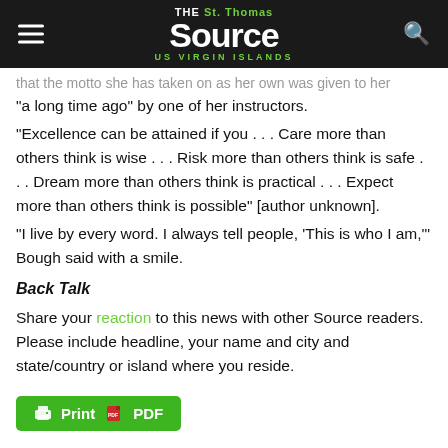THE St. Thomas Source US VIRGIN ISLANDS
that the motto she has taken on as her own was given to her "a long time ago" by one of her instructors.
"Excellence can be attained if you . . . Care more than others think is wise . . . Risk more than others think is safe . . . Dream more than others think is practical . . . Expect more than others think is possible" [author unknown].
"I live by every word. I always tell people, 'This is who I am,'" Bough said with a smile.
Back Talk
Share your reaction to this news with other Source readers. Please include headline, your name and city and state/country or island where you reside.
[Figure (other): Print and PDF buttons]